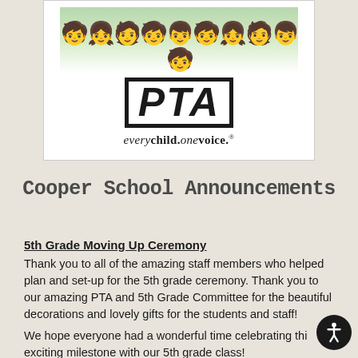[Figure (logo): PTA logo with children holding hands illustration above, bold italic PTA text with border, and tagline 'every child. one voice.' below]
Cooper School Announcements
5th Grade Moving Up Ceremony
Thank you to all of the amazing staff members who helped plan and set-up for the 5th grade ceremony. Thank you to our amazing PTA and 5th Grade Committee for the beautiful decorations and lovely gifts for the students and staff!
We hope everyone had a wonderful time celebrating this exciting milestone with our 5th grade class!